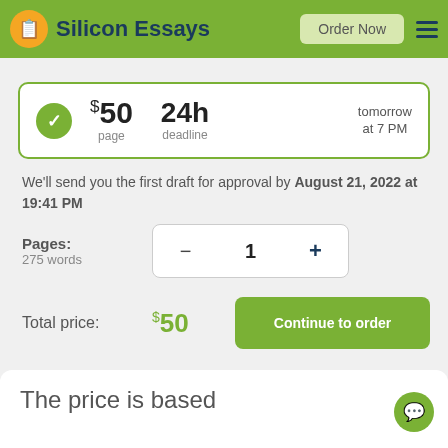Silicon Essays — Order Now
[Figure (screenshot): Pricing card showing: green checkmark circle, $50 per page, 24h deadline, tomorrow at 7 PM]
We'll send you the first draft for approval by August 21, 2022 at 19:41 PM
Pages:
275 words
Total price: $50
Continue to order
The price is based